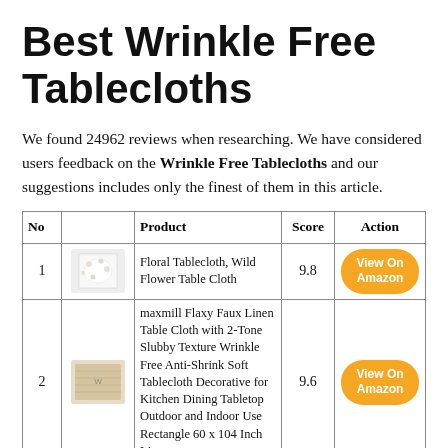Best Wrinkle Free Tablecloths
We found 24962 reviews when researching. We have considered users feedback on the Wrinkle Free Tablecloths and our suggestions includes only the finest of them in this article.
| No | Product | Score | Action |
| --- | --- | --- | --- |
| 1 | Floral Tablecloth, Wild Flower Table Cloth | 9.8 | View On Amazon |
| 2 | maxmill Flaxy Faux Linen Table Cloth with 2-Tone Slubby Texture Wrinkle Free Anti-Shrink Soft Tablecloth Decorative for Kitchen Dining Tabletop Outdoor and Indoor Use Rectangle 60 x 104 Inch Linen | 9.6 | View On Amazon |
| 3 | Lipo Waterproof Tablecloth Embroidery Burlap Linen with Tassel - Heavy Duty Wrinkle Free |  | View On Amazon |